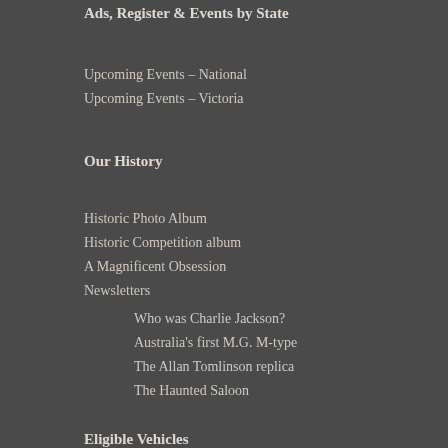Ads, Register & Events by State
Upcoming Events – National
Upcoming Events – Victoria
Our History
Historic Photo Album
Historic Competition album
A Magnificent Obsession
Newsletters
Who was Charlie Jackson?
Australia's first M.G. M-type
The Allan Tomlinson replica
The Haunted Saloon
Eligible Vehicles
14/28
14/40
18/80